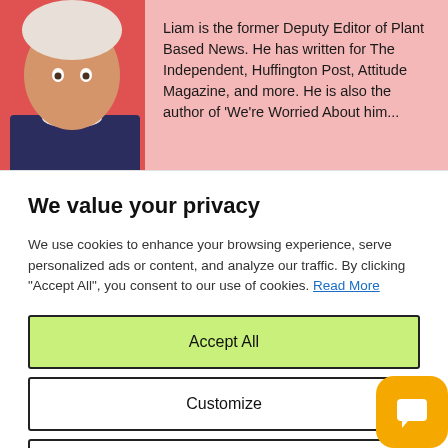[Figure (photo): Partial photo of a person (head/shoulders) against a red/pink background on the left side]
Liam is the former Deputy Editor of Plant Based News. He has written for The Independent, Huffington Post, Attitude Magazine, and more. He is also the author of 'We're Worried About him...
We value your privacy
We use cookies to enhance your browsing experience, serve personalized ads or content, and analyze our traffic. By clicking "Accept All", you consent to our use of cookies. Read More
Accept All
Customize
Reject All